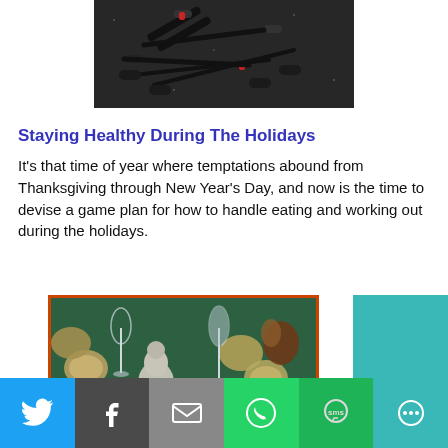[Figure (photo): Overhead view of black exercise resistance bands and equipment on dark speckled floor]
Staying Healthy During The Holidays
It's that time of year where temptations abound from Thanksgiving through New Year's Day, and now is the time to devise a game plan for how to handle eating and working out during the holidays.
[Figure (photo): Thanksgiving holiday dinner table with plates, glasses, candle, turkey decoration, and orange leaf accents. Text overlay reads 'Staying Healthy During The Holidays' in orange serif font.]
Social share buttons: Twitter, Facebook, Email, WhatsApp, SMS, More